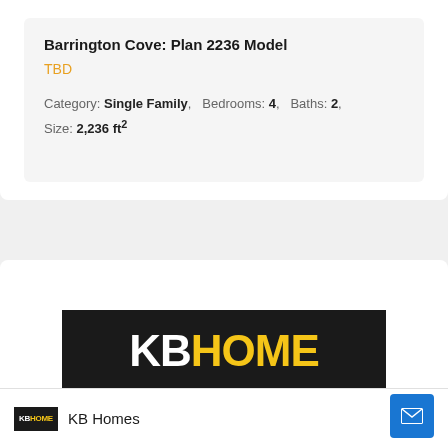Barrington Cove: Plan 2236 Model
TBD
Category: Single Family,  Bedrooms: 4,  Baths: 2,  Size: 2,236 ft²
[Figure (logo): KB HOME logo — black background rectangle with white 'KB' letters and yellow 'HOME' letters in large bold font]
KB Homes